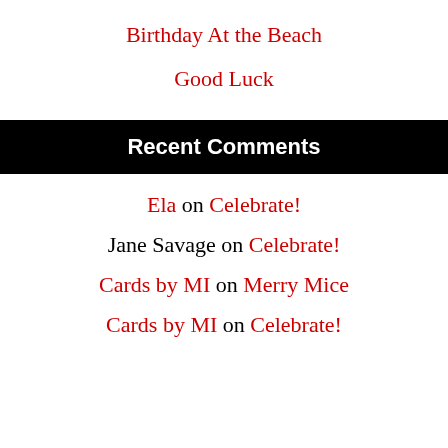Birthday At the Beach
Good Luck
Recent Comments
Ela on Celebrate!
Jane Savage on Celebrate!
Cards by MI on Merry Mice
Cards by MI on Celebrate!